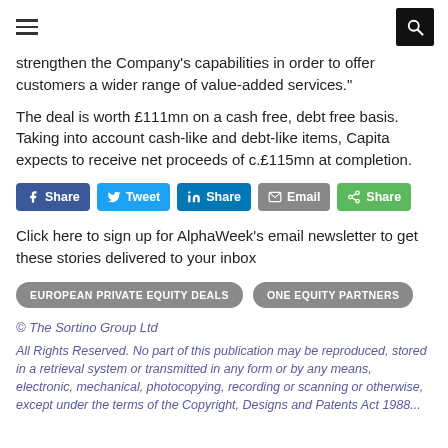[hamburger menu] [search icon]
strengthen the Company's capabilities in order to offer customers a wider range of value-added services."
The deal is worth £111mn on a cash free, debt free basis. Taking into account cash-like and debt-like items, Capita expects to receive net proceeds of c.£115mn at completion.
[Figure (infographic): Social share buttons: Facebook Share, Twitter Tweet, LinkedIn Share, Email, Share (green)]
Click here to sign up for AlphaWeek's email newsletter to get these stories delivered to your inbox
EUROPEAN PRIVATE EQUITY DEALS
ONE EQUITY PARTNERS
© The Sortino Group Ltd
All Rights Reserved. No part of this publication may be reproduced, stored in a retrieval system or transmitted in any form or by any means, electronic, mechanical, photocopying, recording or scanning or otherwise, except under the terms of the Copyright, Designs and Patents Act 1988...